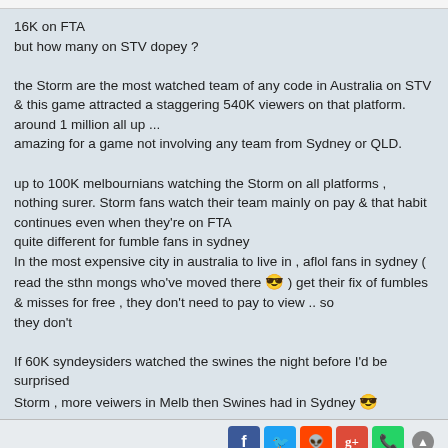16K on FTA
but how many on STV dopey ?

the Storm are the most watched team of any code in Australia on STV & this game attracted a staggering 540K viewers on that platform.
around 1 million all up ...
amazing for a game not involving any team from Sydney or QLD.

up to 100K melbournians watching the Storm on all platforms , nothing surer. Storm fans watch their team mainly on pay & that habit continues even when they're on FTA
quite different for fumble fans in sydney
In the most expensive city in australia to live in , aflol fans in sydney ( read the sthn mongs who've moved there 😎 ) get their fix of fumbles & misses for free , they don't need to pay to view .. so
they don't

If 60K syndeysiders watched the swines the night before I'd be surprised
Storm , more veiwers in Melb then Swines had in Sydney 😎
Beaussie
Site Admin